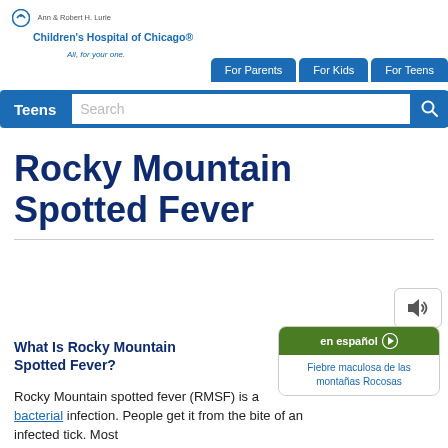Ann & Robert H. Lurie Children's Hospital of Chicago
All, for your one:
For Parents | For Kids | For Teens
Teens Search
Rocky Mountain Spotted Fever
What Is Rocky Mountain Spotted Fever?
[Figure (other): en español button with link: Fiebre maculosa de las montañas Rocosas]
Rocky Mountain spotted fever (RMSF) is a bacterial infection. People get it from the bite of an infected tick. Most